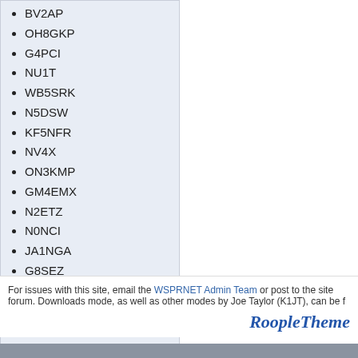BV2AP
OH8GKP
G4PCI
NU1T
WB5SRK
N5DSW
KF5NFR
NV4X
ON3KMP
GM4EMX
N2ETZ
N0NCI
JA1NGA
G8SEZ
ZL4JW
VA3SOE
WY1F
KB8STV
G3TGD
For issues with this site, email the WSPRNET Admin Team or post to the site forum. Downloads mode, as well as other modes by Joe Taylor (K1JT), can be f
RoopleTheme